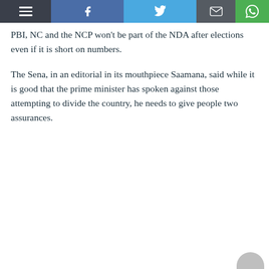Toolbar with menu, Facebook, Twitter, Email, WhatsApp icons
PBI, NC and the NCP won't be part of the NDA after elections even if it is short on numbers.
The Sena, in an editorial in its mouthpiece Saamana, said while it is good that the prime minister has spoken against those attempting to divide the country, he needs to give people two assurances.